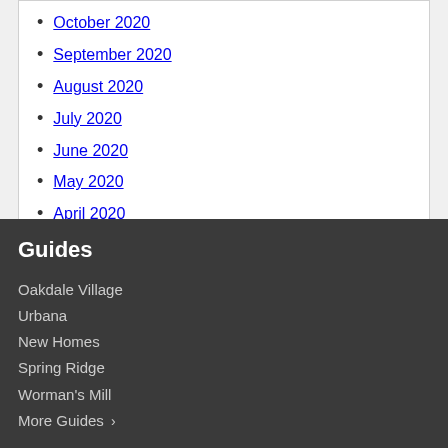October 2020
September 2020
August 2020
July 2020
June 2020
May 2020
April 2020
March 2020
Guides
Oakdale Village
Urbana
New Homes
Spring Ridge
Worman's Mill
More Guides >